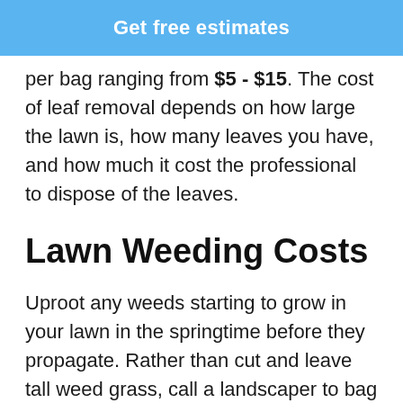[Figure (other): Blue button with white bold text reading 'Get free estimates']
per bag ranging from $5 - $15. The cost of leaf removal depends on how large the lawn is, how many leaves you have, and how much it cost the professional to dispose of the leaves.
Lawn Weeding Costs
Uproot any weeds starting to grow in your lawn in the springtime before they propagate. Rather than cut and leave tall weed grass, call a landscaper to bag and remove all clippings that include seed heads to prevent most of it